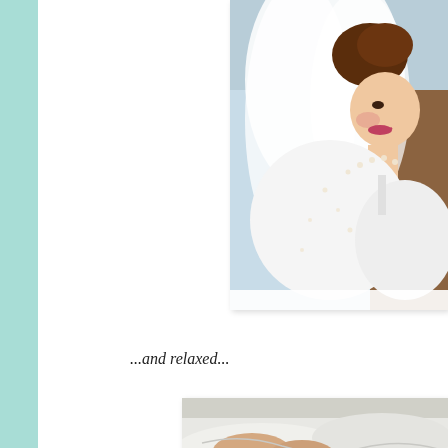[Figure (photo): A bride wearing a white wedding dress and veil with pearl details, smiling, photographed from behind and slightly to the side. Another person in blue is partially visible in the background.]
...and relaxed...
[Figure (photo): Close-up black and white or desaturated photo of hands and white fabric, possibly wedding dress or gloves.]